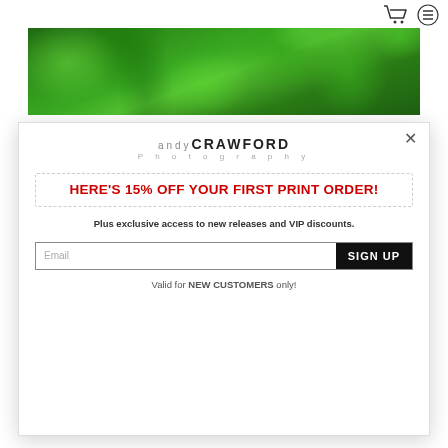shopping cart and menu icons
[Figure (photo): Close-up photo of green leafy plants / bell pepper leaves with water droplets, lush green foliage filling the frame]
[Figure (logo): andyCRAWFORD Photography logo — 'andy' in small spaced grey letters, 'CRAWFORD' in large bold dark letters, 'Photography' in small spaced grey letters below]
HERE'S 15% OFF YOUR FIRST PRINT ORDER!
Plus exclusive access to new releases and VIP discounts.
Email
SIGN UP
Valid for NEW CUSTOMERS only!